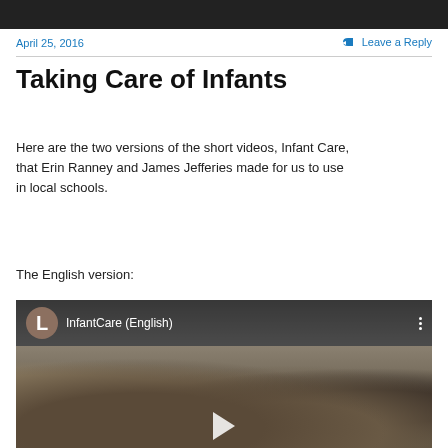[Figure (screenshot): Dark top bar of a webpage]
April 25, 2016
Leave a Reply
Taking Care of Infants
Here are the two versions of the short videos, Infant Care, that Erin Ranney and James Jefferies made for us to use in local schools.
The English version:
[Figure (screenshot): YouTube video thumbnail showing InfantCare (English) with monkeys in background, channel avatar with letter L, play button visible]